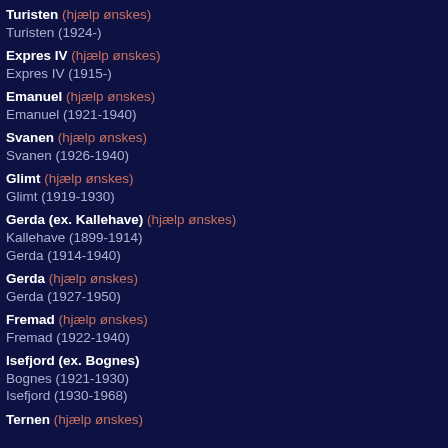Turisten (hjælp ønskes)
Turisten (1924-)
Expres IV (hjælp ønskes)
Expres IV (1915-)
Emanuel (hjælp ønskes)
Emanuel (1921-1940)
Svanen (hjælp ønskes)
Svanen (1926-1940)
Glimt (hjælp ønskes)
Glimt (1919-1930)
Gerda (ex. Kallehave) (hjælp ønskes)
Kallehave (1899-1914)
Gerda (1914-1940)
Gerda (hjælp ønskes)
Gerda (1927-1950)
Fremad (hjælp ønskes)
Fremad (1922-1940)
Isefjord (ex. Bognes)
Bognes (1921-1930)
Isefjord (1930-1968)
Ternen (hjælp ønskes)